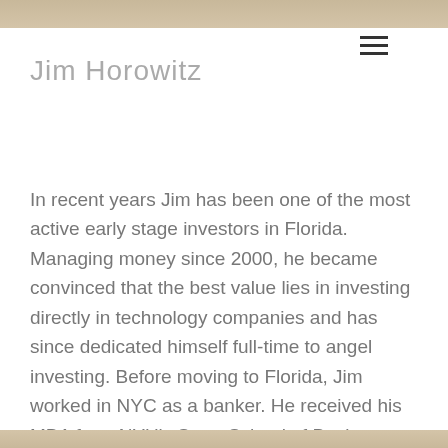[Figure (photo): Top portion of a profile photo of Jim Horowitz, cropped at top of page]
Jim Horowitz
In recent years Jim has been one of the most active early stage investors in Florida. Managing money since 2000, he became convinced that the best value lies in investing directly in technology companies and has since dedicated himself full-time to angel investing. Before moving to Florida, Jim worked in NYC as a banker. He received his MBA from NYU's Stern School of Business and his BA from Yale.
[Figure (photo): Bottom portion of a profile photo, cropped at bottom of page]